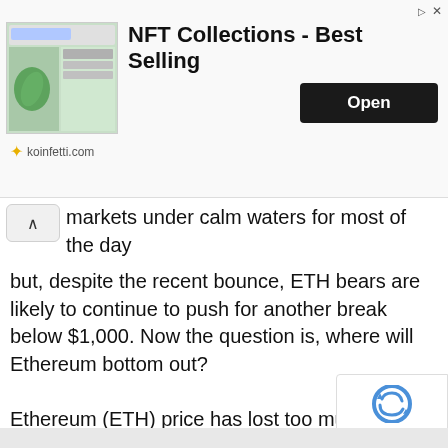[Figure (screenshot): Advertisement banner for NFT Collections - Best Selling from koinfetti.com with an Open button]
markets under calm waters for most of the day but, despite the recent bounce, ETH bears are likely to continue to push for another break below $1,000. Now the question is, where will Ethereum bottom out?
Ethereum (ETH) price has lost too much intrinsic value this week to make a decent recovery to $1,404, from where it could rally back to $1,600. Instead, investors will need to take it on the chin and see another 50% price discount as ETH price could crash to $570 once it breaches $1,000. That could come quickly as a break below $1,000 will trigger doubt amongst investo bite into the credibility of the second-biggest